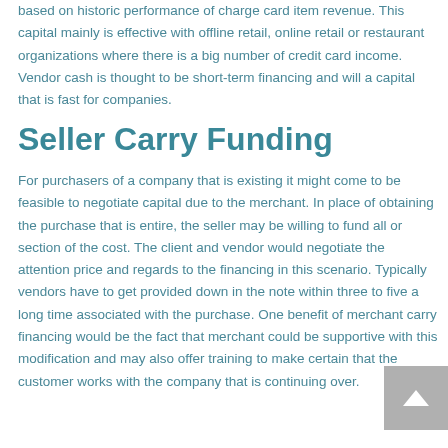based on historic performance of charge card item revenue. This capital mainly is effective with offline retail, online retail or restaurant organizations where there is a big number of credit card income. Vendor cash is thought to be short-term financing and will a capital that is fast for companies.
Seller Carry Funding
For purchasers of a company that is existing it might come to be feasible to negotiate capital due to the merchant. In place of obtaining the purchase that is entire, the seller may be willing to fund all or section of the cost. The client and vendor would negotiate the attention price and regards to the financing in this scenario. Typically vendors have to get provided down in the note within three to five a long time associated with the purchase. One benefit of merchant carry financing would be the fact that merchant could be supportive with this modification and may also offer training to make certain that the customer works with the company that is continuing over.